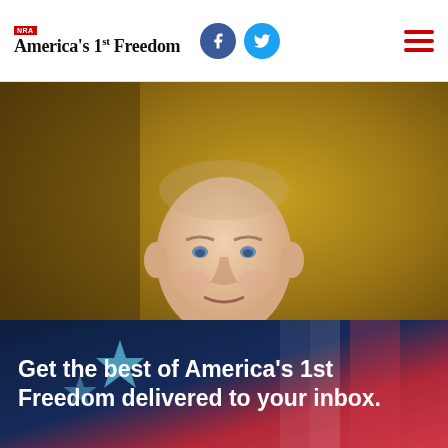NRA America's 1st Freedom
[Figure (photo): Portrait photo of a man in a grey suit and blue tie against a golden/brown background]
From The Editor: Will More Europeans Go
SHOW MORE INTERESTS
Get the best of America's 1st Freedom delivered to your inbox.